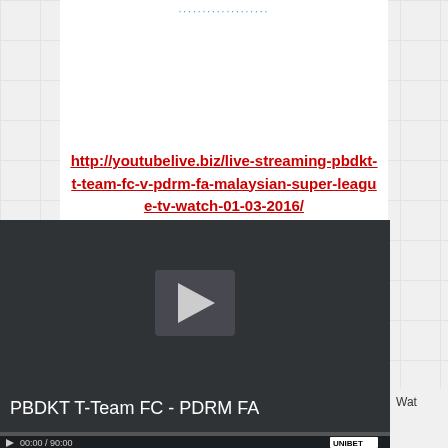http://youtubelive.biz/live-streaming-pbdkt-t-team-fc-v-pdrm-fa-malaysian-super-league-tv-watch-01-03-2016/
[Figure (screenshot): Video player showing PBDKT T-Team FC - PDRM FA match, dark background with play button, progress bar showing 00:00 / 90:00, UNIBET advertisement button]